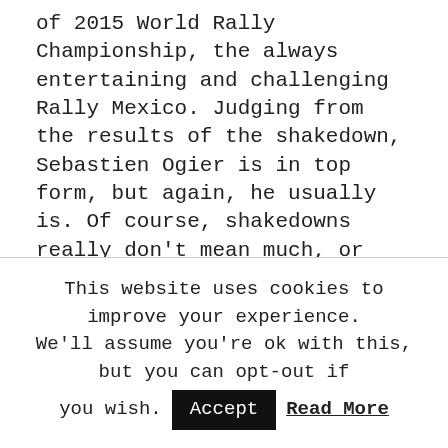of 2015 World Rally Championship, the always entertaining and challenging Rally Mexico. Judging from the results of the shakedown, Sebastien Ogier is in top form, but again, he usually is. Of course, shakedowns really don't mean much, or even less, but as things stand right now, Ogier is not going to go down without a massive fight, should he decide to push against the odds. Thick layer of slippery dust is his main enemy in Mexico. Well, that and the closed gates, but that's another story – the one organizers promised will not happen again. It's safe to put some money on "Ogier will, at some point, complain about the road position", but let's see. Huge amount of dust and no
This website uses cookies to improve your experience. We'll assume you're ok with this, but you can opt-out if you wish. Accept Read More